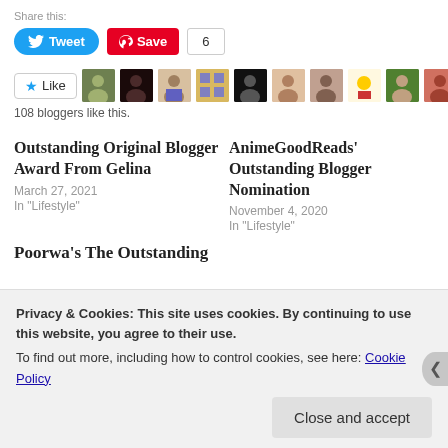Share this:
[Figure (infographic): Tweet and Save share buttons with count of 6]
[Figure (infographic): Like button with star icon followed by avatar images of 108 bloggers]
108 bloggers like this.
Outstanding Original Blogger Award From Gelina
March 27, 2021
In "Lifestyle"
AnimeGoodReads' Outstanding Blogger Nomination
November 4, 2020
In "Lifestyle"
Poorwa's The Outstanding
Privacy & Cookies: This site uses cookies. By continuing to use this website, you agree to their use.
To find out more, including how to control cookies, see here: Cookie Policy
Close and accept